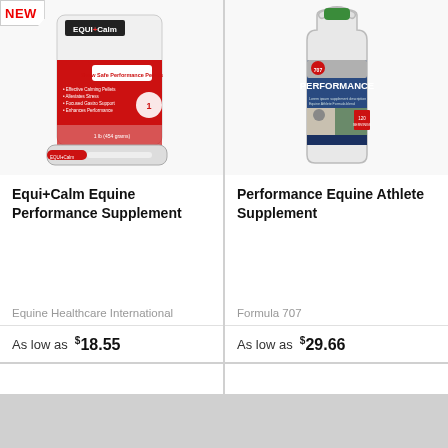[Figure (photo): Equi+Calm Equine Performance Supplement product bag and syringe, white bag with red label]
Equi+Calm Equine Performance Supplement
Equine Healthcare International
As low as $18.55
[Figure (photo): Performance Equine Athlete Supplement white gallon jug with green cap and blue/grey label]
Performance Equine Athlete Supplement
Formula 707
As low as $29.66